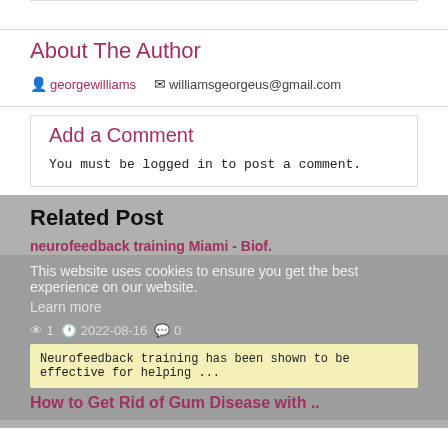About The Author
georgewilliams   williamsgeorgeus@gmail.com
Add a Comment
You must be logged in to post a comment.
Related Post
This website uses cookies to ensure you get the best experience on our website.
Learn more
neurofeedback training Miami - Biof.
👁 1  🕐 2022-08-16  💬 0
Neurofeedback training has been shown to be effective for helping ...
How to Get Rid of Gum Disease with ..